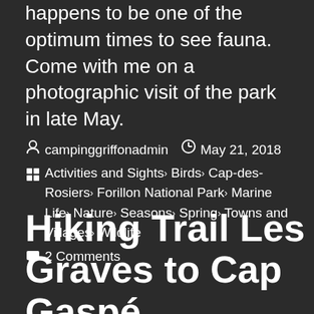happens to be one of the optimum times to see fauna. Come with me on a photographic visit of the park in late May.
campinggriffonadmin   May 21, 2018
Activities and Sights, Birds, Cap-des-Rosiers, Forillon National Park, Marine Life, Nature, Seasons, Spring, Towns and Villages, Wildlife
2 Comments
Hiking Trail Les Graves to Cap Gaspé Lighthouse at Land's